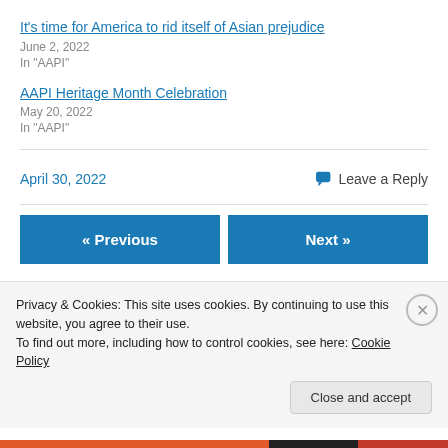It's time for America to rid itself of Asian prejudice
June 2, 2022
In "AAPI"
AAPI Heritage Month Celebration
May 20, 2022
In "AAPI"
April 30, 2022
Leave a Reply
« Previous
Next »
Privacy & Cookies: This site uses cookies. By continuing to use this website, you agree to their use.
To find out more, including how to control cookies, see here: Cookie Policy